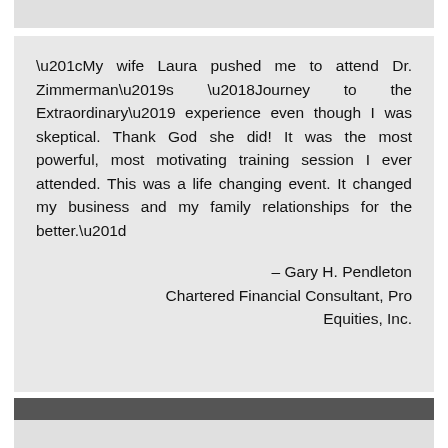“My wife Laura pushed me to attend Dr. Zimmerman’s ‘Journey to the Extraordinary’ experience even though I was skeptical. Thank God she did! It was the most powerful, most motivating training session I ever attended. This was a life changing event. It changed my business and my family relationships for the better.”
– Gary H. Pendleton Chartered Financial Consultant, Pro Equities, Inc.